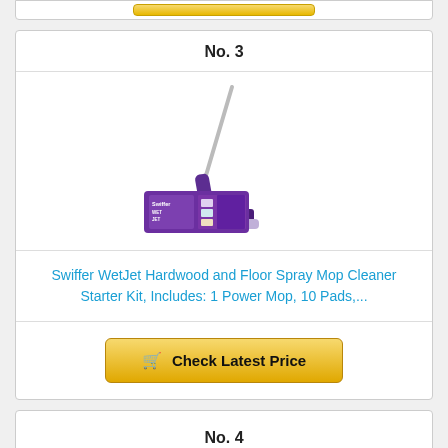[Figure (other): Partial card top showing a golden 'Check Latest Price' button from the previous listing]
No. 3
[Figure (photo): Swiffer WetJet mop product image showing the purple/violet mop with handle leaning diagonally and its retail box packaging in front]
Swiffer WetJet Hardwood and Floor Spray Mop Cleaner Starter Kit, Includes: 1 Power Mop, 10 Pads,...
Check Latest Price
No. 4